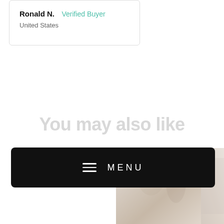Ronald N.  Verified Buyer
United States
You may also like
[Figure (photo): Product photos showing fitness/body images]
≡ MENU